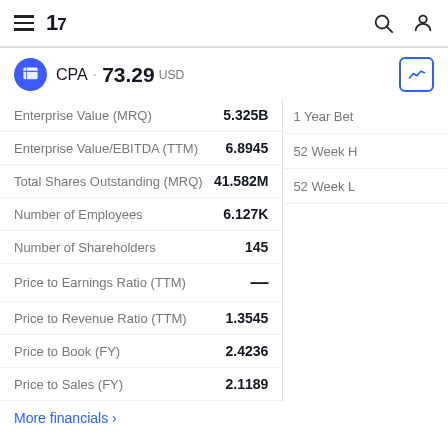TradingView navigation bar with hamburger menu, 17 logo, search and user icons
CPA · 73.29 USD
| Metric | Value |
| --- | --- |
| Enterprise Value (MRQ) | 5.325B |
| Enterprise Value/EBITDA (TTM) | 6.8945 |
| Total Shares Outstanding (MRQ) | 41.582M |
| Number of Employees | 6.127K |
| Number of Shareholders | 145 |
| Price to Earnings Ratio (TTM) | — |
| Price to Revenue Ratio (TTM) | 1.3545 |
| Price to Book (FY) | 2.4236 |
| Price to Sales (FY) | 2.1189 |
More financials ›